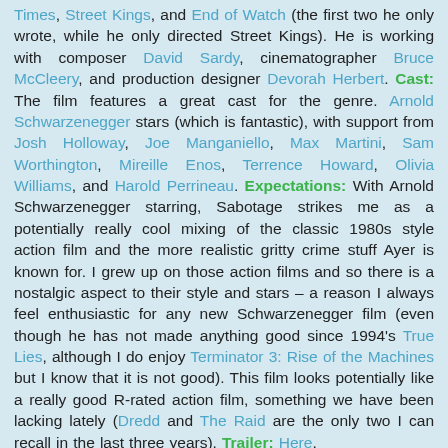Times, Street Kings, and End of Watch (the first two he only wrote, while he only directed Street Kings). He is working with composer David Sardy, cinematographer Bruce McCleery, and production designer Devorah Herbert. Cast: The film features a great cast for the genre. Arnold Schwarzenegger stars (which is fantastic), with support from Josh Holloway, Joe Manganiello, Max Martini, Sam Worthington, Mireille Enos, Terrence Howard, Olivia Williams, and Harold Perrineau. Expectations: With Arnold Schwarzenegger starring, Sabotage strikes me as a potentially really cool mixing of the classic 1980s style action film and the more realistic gritty crime stuff Ayer is known for. I grew up on those action films and so there is a nostalgic aspect to their style and stars – a reason I always feel enthusiastic for any new Schwarzenegger film (even though he has not made anything good since 1994's True Lies, although I do enjoy Terminator 3: Rise of the Machines but I know that it is not good). This film looks potentially like a really good R-rated action film, something we have been lacking lately (Dredd and The Raid are the only two I can recall in the last three years). Trailer: Here.